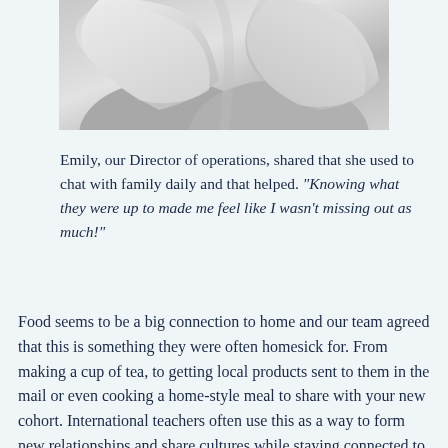[Figure (photo): Black and white photograph showing two people with long blonde hair, cropped at the top of the page]
Emily, our Director of operations, shared that she used to chat with family daily and that helped. “Knowing what they were up to made me feel like I wasn’t missing out as much!”
Food seems to be a big connection to home and our team agreed that this is something they were often homesick for. From making a cup of tea, to getting local products sent to them in the mail or even cooking a home-style meal to share with your new cohort. International teachers often use this as a way to form new relationships and share cultures while staying connected to home. As they say,